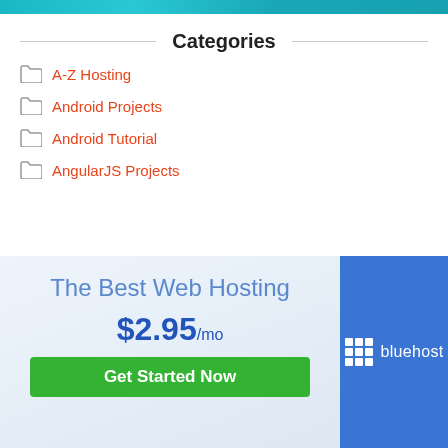[Figure (illustration): Teal/cyan decorative banner strip at the top of the page]
Categories
A-Z Hosting
Android Projects
Android Tutorial
AngularJS Projects
[Figure (infographic): Bluehost advertisement banner: 'The Best Web Hosting $2.95/mo Get Started Now' with blue branding on right side]